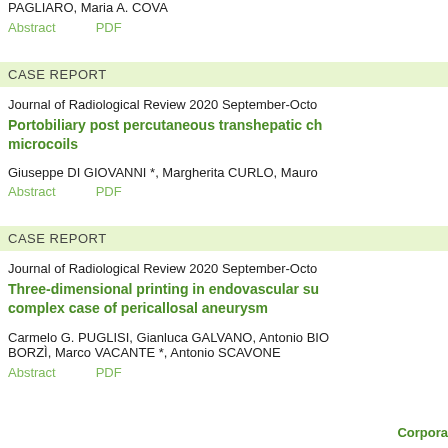PAGLIARO, Maria A. COVA
Abstract    PDF
CASE REPORT
Journal of Radiological Review 2020 September-Octo
Portobiliary post percutaneous transhepatic ch... microcoils
Giuseppe DI GIOVANNI *, Margherita CURLO, Mauro
Abstract    PDF
CASE REPORT
Journal of Radiological Review 2020 September-Octo
Three-dimensional printing in endovascular su... complex case of pericallosal aneurysm
Carmelo G. PUGLISI, Gianluca GALVANO, Antonio BIO... BORZÌ, Marco VACANTE *, Antonio SCAVONE
Abstract    PDF
Corpora